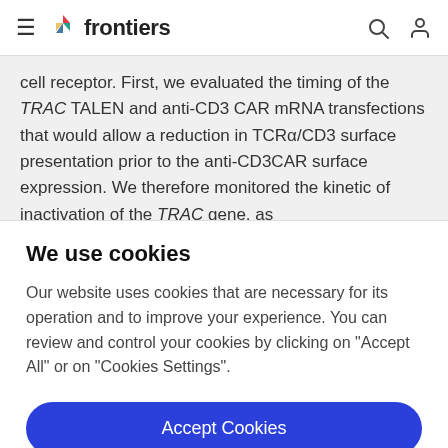frontiers
cell receptor. First, we evaluated the timing of the TRAC TALEN and anti-CD3 CAR mRNA transfections that would allow a reduction in TCRα/CD3 surface presentation prior to the anti-CD3CAR surface expression. We therefore monitored the kinetic of inactivation of the TRAC gene, as
We use cookies
Our website uses cookies that are necessary for its operation and to improve your experience. You can review and control your cookies by clicking on "Accept All" or on "Cookies Settings".
Accept Cookies
Cookies Settings